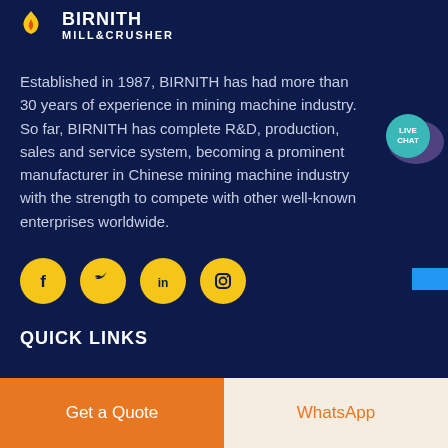[Figure (logo): BIRNITH MILL&CRUSHER logo with flame icon and white text on dark blue background]
Established in 1987, BIRNITH has had more than 30 years of experience in mining machine industry. So far, BIRNITH has complete R&D, production, sales and service system, becoming a prominent manufacturer in Chinese mining machine industry with the strength to compete with other well-known enterprises worldwide.
[Figure (infographic): Four yellow circular social media icons: Facebook (f), Twitter (bird), LinkedIn (in), Instagram (camera)]
QUICK LINKS
[Figure (infographic): Live Chat speech bubble icon in teal/purple]
Get a Quote
WhatsApp